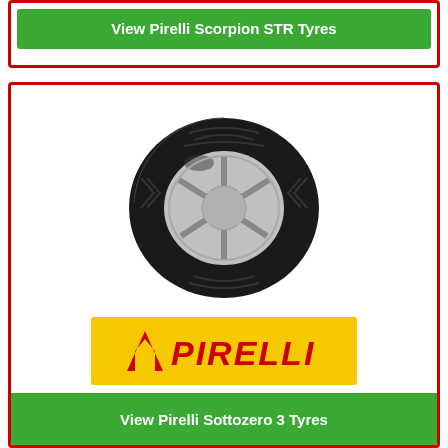View Pirelli Scorpion STR Tyres
[Figure (photo): Pirelli Sottozero 3 winter tyre mounted on a silver alloy wheel, shown at an angle against a white background]
[Figure (logo): Pirelli logo — yellow background with red italic text reading PIRELLI with a stylized P arrow mark]
Sottozero 3
View Pirelli Sottozero 3 Tyres